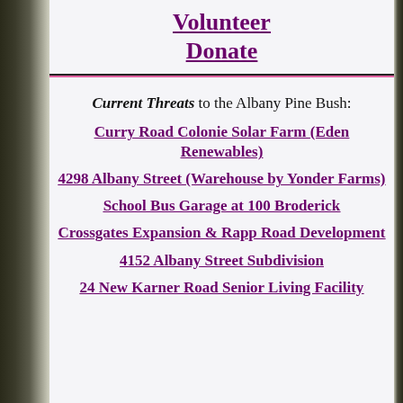Volunteer
Donate
Current Threats to the Albany Pine Bush:
Curry Road Colonie Solar Farm (Eden Renewables)
4298 Albany Street (Warehouse by Yonder Farms)
School Bus Garage at 100 Broderick
Crossgates Expansion & Rapp Road Development
4152 Albany Street Subdivision
24 New Karner Road Senior Living Facility